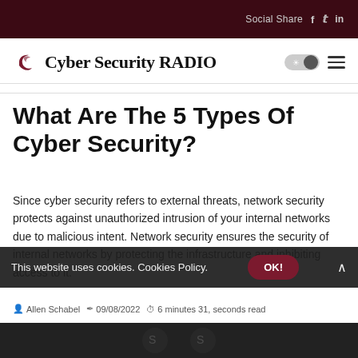Social Share  f  t  in
[Figure (logo): Cyber Security RADIO logo with crescent/swirl icon and dark mode toggle]
What Are The 5 Types Of Cyber Security?
Since cyber security refers to external threats, network security protects against unauthorized intrusion of your internal networks due to malicious intent. Network security ensures the security of internal networks by protecting the infrastructure and inhibiting access to it.
Allen Schabel  09/08/2022  6 minutes 31, seconds read
This website uses cookies. Cookies Policy.  OK!